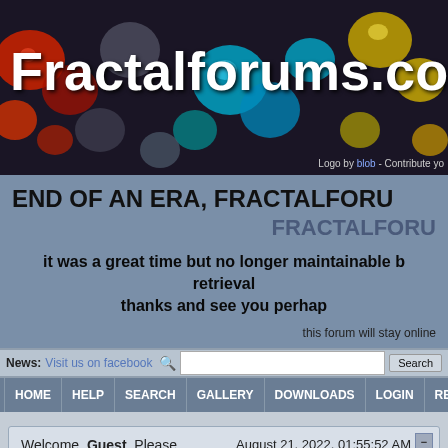[Figure (illustration): Fractalforums.com website banner with colorful fractal image (red, teal, yellow spheres/bubbles on dark background) and white bold text 'Fractalforums.co' (cropped)]
Logo by blob - Contribute yo
END OF AN ERA, FRACTALFORU
FRACTALFORU
it was a great time but no longer maintainable b
retrieval
thanks and see you perhap
this forum will stay online
News: Visit us on facebook
HOME  HELP  SEARCH  GALLERY  DOWNLOADS  LOGIN  REGISTER
Welcome, Guest. Please login or register.
August 21, 2022, 01:55:52 AM